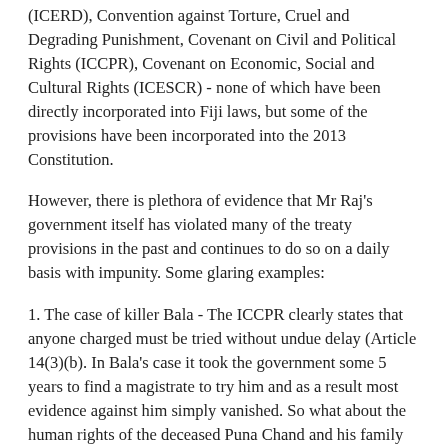(ICERD), Convention against Torture, Cruel and Degrading Punishment, Covenant on Civil and Political Rights (ICCPR), Covenant on Economic, Social and Cultural Rights (ICESCR) - none of which have been directly incorporated into Fiji laws, but some of the provisions have been incorporated into the 2013 Constitution.
However, there is plethora of evidence that Mr Raj's government itself has violated many of the treaty provisions in the past and continues to do so on a daily basis with impunity. Some glaring examples:
1. The case of killer Bala - The ICCPR clearly states that anyone charged must be tried without undue delay (Article 14(3)(b). In Bala's case it took the government some 5 years to find a magistrate to try him and as a result most evidence against him simply vanished. So what about the human rights of the deceased Puna Chand and his family Mr Raj?
2. ICCPR Article 19 states that everyone has the right to hold opinions without interference. So if political parties and individuals have this right and exercise it against this "refugee", how can Mr Raj silence them? Is he claiming the Refugee Convention overrides the ICCPR rights? If so, on what legal